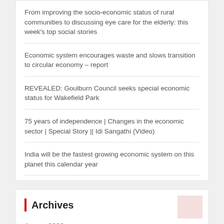From improving the socio-economic status of rural communities to discussing eye care for the elderly: this week's top social stories
Economic system encourages waste and slows transition to circular economy – report
REVEALED: Goulburn Council seeks special economic status for Wakefield Park
75 years of independence | Changes in the economic sector | Special Story || Idi Sangathi (Video)
India will be the fastest growing economic system on this planet this calendar year
Archives
August 2022
July 2022
June 2022